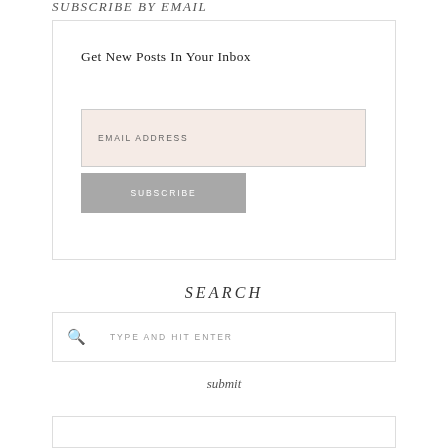SUBSCRIBE BY EMAIL
Get New Posts In Your Inbox
EMAIL ADDRESS
SUBSCRIBE
SEARCH
TYPE AND HIT ENTER
submit